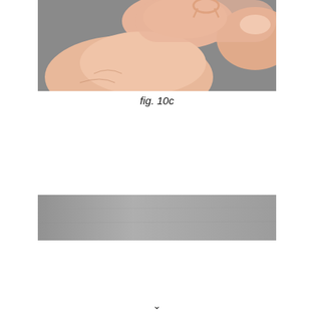[Figure (photo): Close-up photo of fingers holding a small copper wire loop or ring against a grey background.]
fig. 10c
[Figure (photo): Photo showing a thin grey rectangular surface or whetstone against a white background.]